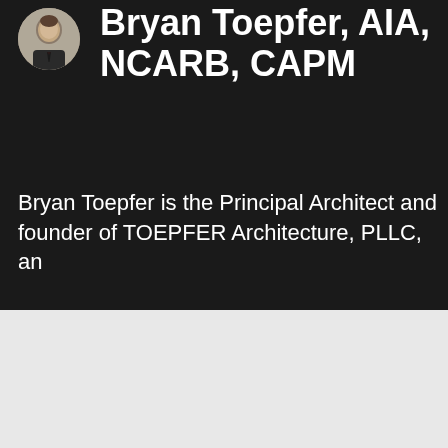[Figure (photo): Circular headshot photo of Bryan Toepfer, a man in a suit and tie, positioned in the upper left of the dark background section]
Bryan Toepfer, AIA, NCARB, CAPM
Bryan Toepfer is the Principal Architect and founder of TOEPFER Architecture, PLLC, an
Advertisement
[Figure (infographic): DuckDuckGo advertisement banner on orange background. Text reads: 'Search, browse, and email with more privacy. All in One Free App' with DuckDuckGo logo and phone mockup image.]